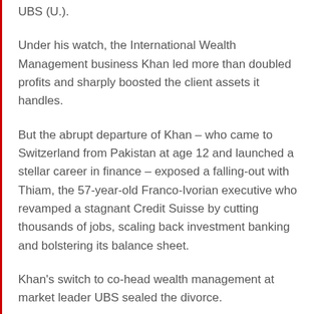UBS (U.).
Under his watch, the International Wealth Management business Khan led more than doubled profits and sharply boosted the client assets it handles.
But the abrupt departure of Khan – who came to Switzerland from Pakistan at age 12 and launched a stellar career in finance – exposed a falling-out with Thiam, the 57-year-old Franco-Ivorian executive who revamped a stagnant Credit Suisse by cutting thousands of jobs, scaling back investment banking and bolstering its balance sheet.
Khan's switch to co-head wealth management at market leader UBS sealed the divorce.
Khan, 43, went to the police after the confrontation with at